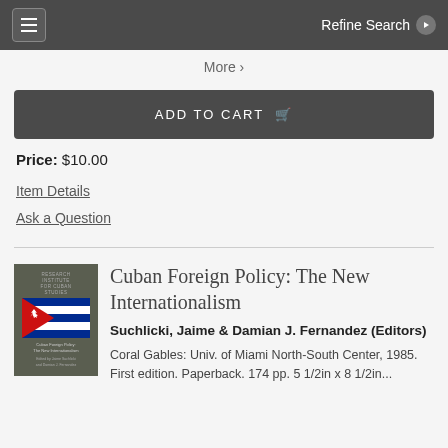Refine Search
More >
ADD TO CART
Price: $10.00
Item Details
Ask a Question
Cuban Foreign Policy: The New Internationalism
Suchlicki, Jaime & Damian J. Fernandez (Editors)
Coral Gables: Univ. of Miami North-South Center, 1985. First edition. Paperback. 174 pp. 5 1/2in x 8 1/2in...